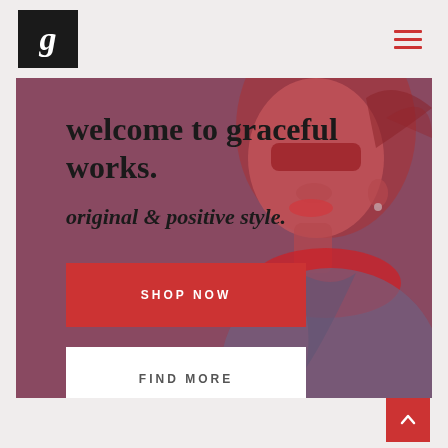[Figure (logo): Black square with white italic letter g — Graceful Works logo]
welcome to graceful works.
original & positive style.
[Figure (photo): Red-tinted photo of a woman wearing sunglasses, looking up, with red scarf and denim jacket overlaid on a dark purple-magenta hero background]
SHOP NOW
FIND MORE